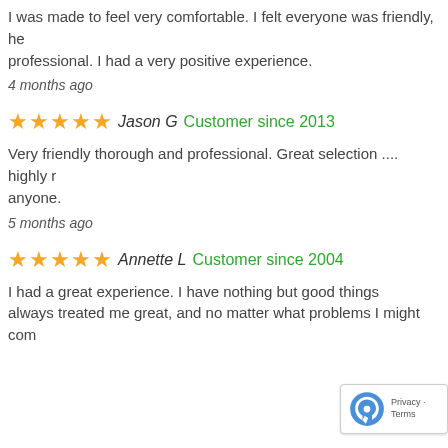I was made to feel very comfortable. I felt everyone was friendly, he professional. I had a very positive experience.
4 months ago
★★★★★ Jason G  Customer since 2013
Very friendly thorough and professional. Great selection .... highly r anyone.
5 months ago
★★★★★ Annette L  Customer since 2004
I had a great experience. I have nothing but good things always treated me great, and no matter what problems I might com